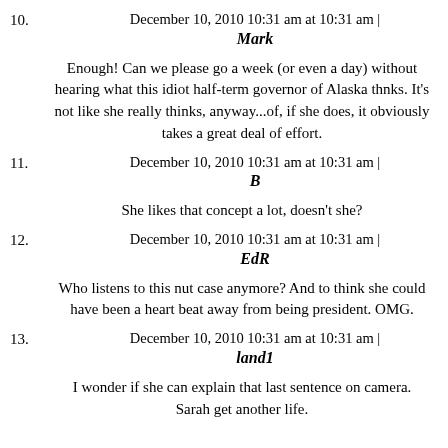10. December 10, 2010 10:31 am at 10:31 am | Mark
Enough! Can we please go a week (or even a day) without hearing what this idiot half-term governor of Alaska thnks. It's not like she really thinks, anyway...of, if she does, it obviously takes a great deal of effort.
11. December 10, 2010 10:31 am at 10:31 am | B
She likes that concept a lot, doesn't she?
12. December 10, 2010 10:31 am at 10:31 am | EdR
Who listens to this nut case anymore? And to think she could have been a heart beat away from being president. OMG.
13. December 10, 2010 10:31 am at 10:31 am | land1
I wonder if she can explain that last sentence on camera. Sarah get another life.